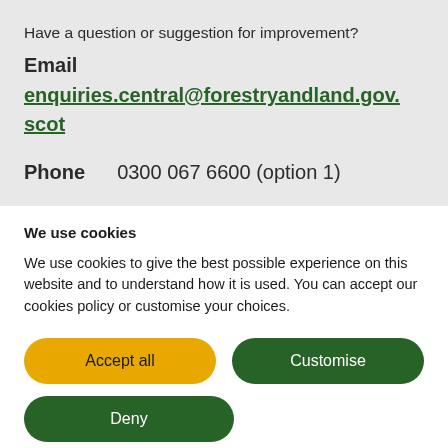Have a question or suggestion for improvement?
Email
enquiries.central@forestryandland.gov.scot
Phone  0300 067 6600 (option 1)
We use cookies
We use cookies to give the best possible experience on this website and to understand how it is used. You can accept our cookies policy or customise your choices.
Accept all | Customise | Deny